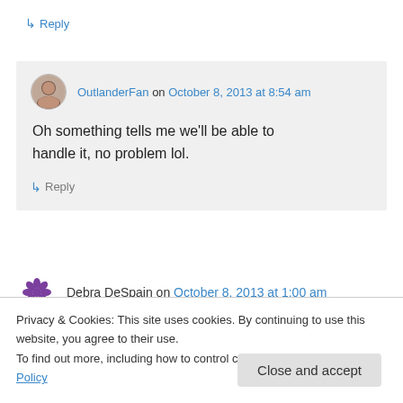↳ Reply
OutlanderFan on October 8, 2013 at 8:54 am
Oh something tells me we'll be able to handle it, no problem lol.
↳ Reply
Debra DeSpain on October 8, 2013 at 1:00 am
Privacy & Cookies: This site uses cookies. By continuing to use this website, you agree to their use. To find out more, including how to control cookies, see here: Cookie Policy
Close and accept